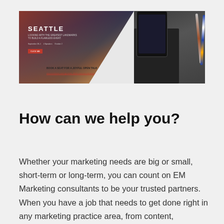[Figure (screenshot): Screenshot showing a marketing webpage with a Seattle cityscape header image on the left (red and dark overlay with city name and text) and a photo of a smartphone on a notebook with two pens on the right]
How can we help you?
Whether your marketing needs are big or small, short-term or long-term, you can count on EM Marketing consultants to be your trusted partners. When you have a job that needs to get done right in any marketing practice area, from content,